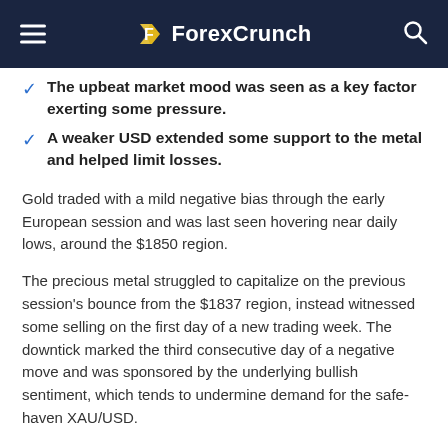ForexCrunch
The upbeat market mood was seen as a key factor exerting some pressure.
A weaker USD extended some support to the metal and helped limit losses.
Gold traded with a mild negative bias through the early European session and was last seen hovering near daily lows, around the $1850 region.
The precious metal struggled to capitalize on the previous session's bounce from the $1837 region, instead witnessed some selling on the first day of a new trading week. The downtick marked the third consecutive day of a negative move and was sponsored by the underlying bullish sentiment, which tends to undermine demand for the safe-haven XAU/USD.
Despite growing market worries about the potential